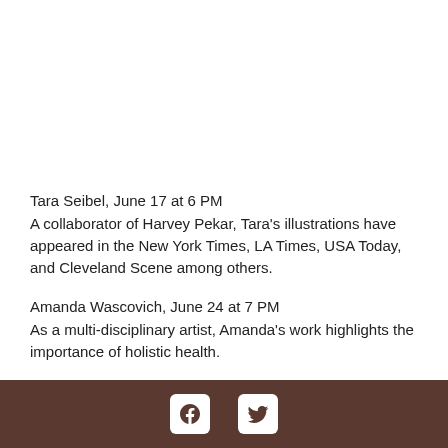Tara Seibel, June 17 at 6 PM
A collaborator of Harvey Pekar, Tara's illustrations have appeared in the New York Times, LA Times, USA Today, and Cleveland Scene among others.
Amanda Wascovich, June 24 at 7 PM
As a multi-disciplinary artist, Amanda's work highlights the importance of holistic health.
For more information, please visit https://www.facebook.com/events/581951096069213/.
[Figure (other): Footer bar with Facebook and Twitter social media icons on a brown background]